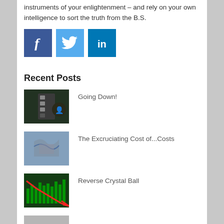instruments of your enlightenment – and rely on your own intelligence to sort the truth from the B.S.
[Figure (logo): Facebook, Twitter, and LinkedIn social media icons]
Recent Posts
Going Down!
The Excruciating Cost of...Costs
Reverse Crystal Ball
(partial fourth post item)